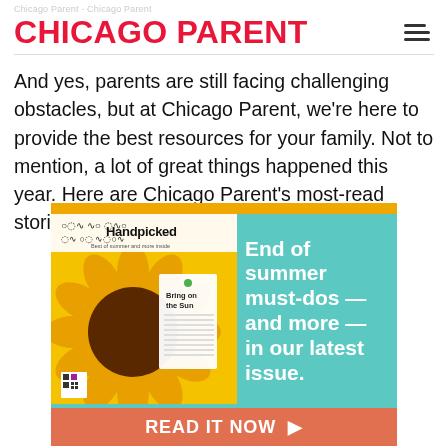Chicago Parent - Chicago Parent
CHICAGO PARENT
And yes, parents are still facing challenging obstacles, but at Chicago Parent, we're here to provide the best resources for your family. Not to mention, a lot of great things happened this year. Here are Chicago Parent's most-read stories of 2021.
[Figure (illustration): Chicago Parent magazine advertisement banner featuring a sunflower magazine cover with 'Handpicked' and 'Bring on the Sun' text, teal background with white bold text reading 'End of summer must-dos — and more — in our latest issue.' and a coral colored button reading 'READ IT NOW ▶']